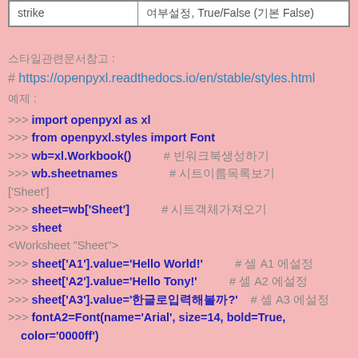| strike | 여부설정, True/False (기본 False) |
| --- | --- |
스타일관련문서참고 :
# https://openpyxl.readthedocs.io/en/stable/styles.html
예제 :
>>> import openpyxl as xl
>>> from openpyxl.styles import Font
>>> wb=xl.Workbook()          # 빈워크북생성하기
>>> wb.sheetnames               # 시트이름목록보기
['Sheet']
>>> sheet=wb['Sheet']          # 시트객체가져오기
>>> sheet
<Worksheet "Sheet">
>>> sheet['A1'].value='Hello World!'          # 셀 A1 에설정
>>> sheet['A2'].value='Hello Tony!'          # 셀 A2 에설정
>>> sheet['A3'].value='한글로입력해볼까?'     # 셀 A3 에설정
>>> fontA2=Font(name='Arial', size=14, bold=True, color='0000ff')